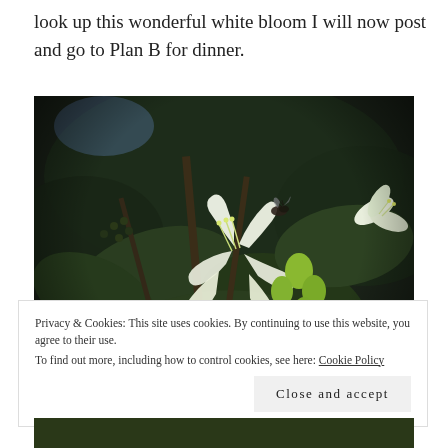look up this wonderful white bloom I will now post and go to Plan B for dinner.
[Figure (photo): Close-up photograph of white honeysuckle flowers with green buds and dark green leaves, with a small insect (bee/fly) visible on the blooms. Dark background with bokeh effect.]
Privacy & Cookies: This site uses cookies. By continuing to use this website, you agree to their use.
To find out more, including how to control cookies, see here: Cookie Policy
Close and accept